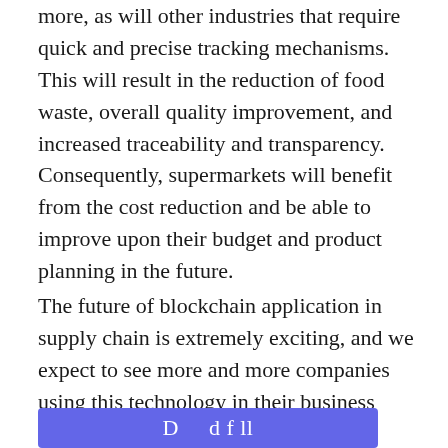more, as will other industries that require quick and precise tracking mechanisms. This will result in the reduction of food waste, overall quality improvement, and increased traceability and transparency. Consequently, supermarkets will benefit from the cost reduction and be able to improve upon their budget and product planning in the future.
The future of blockchain application in supply chain is extremely exciting, and we expect to see more and more companies using this technology in their business operations, as is only natural given the undeniable benefits of implementing blockchain.
[Figure (other): Blue/purple button bar partially visible at the bottom of the page, beginning to show text (likely a download or call-to-action button).]